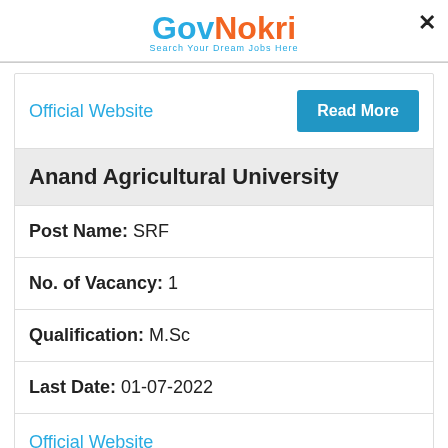GovNokri - Search Your Dream Jobs Here
Official Website
Read More
Anand Agricultural University
Post Name: SRF
No. of Vacancy: 1
Qualification: M.Sc
Last Date: 01-07-2022
Official Website